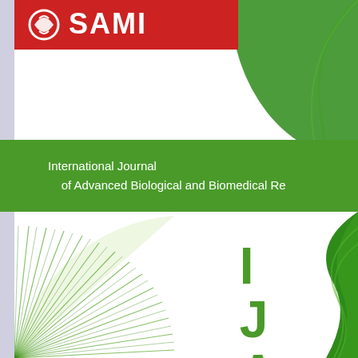[Figure (logo): SAMI publisher logo in red banner at top with white Arabic/stylized icon]
[Figure (illustration): Green decorative arc shape at top right]
International Journal of Advanced Biological and Biomedical Re
[Figure (illustration): Green fan/radial line decoration at bottom left]
[Figure (illustration): Green wave shape at bottom right]
IJABBR